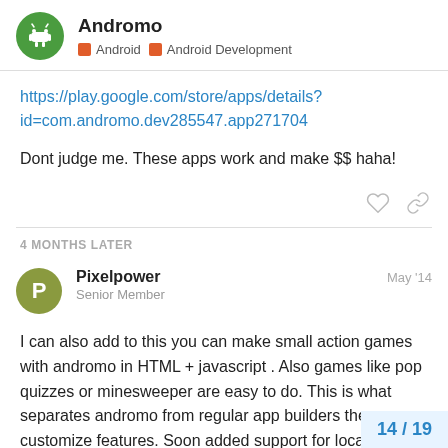Andromo — Android | Android Development
https://play.google.com/store/apps/details?id=com.andromo.dev285547.app271704
Dont judge me. These apps work and make $$ haha!
4 MONTHS LATER
Pixelpower — Senior Member — May '14
I can also add to this you can make small action games with andromo in HTML + javascript . Also games like pop quizzes or minesweeper are easy to do. This is what separates andromo from regular app builders the customize features. Soon added support for localization in one click will be a
14 / 19